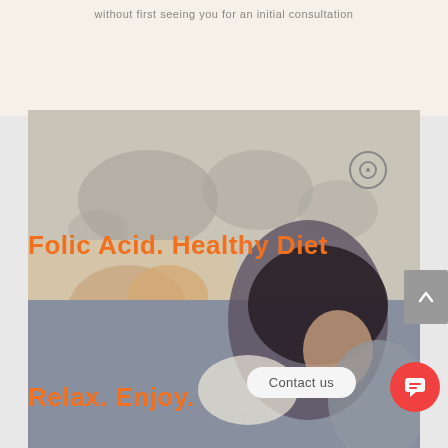without first seeing you for an initial consultation
[Figure (photo): Collage of two photos: top portion shows a world map background with baby being held by adult hands; bottom portion shows a woman with dark hair holding a baby. Orange text overlays read 'Folic Acid. Healthy Diet' and 'Relax. Enjoy.']
Folic Acid. Healthy Diet
Relax. Enjoy.
Contact us